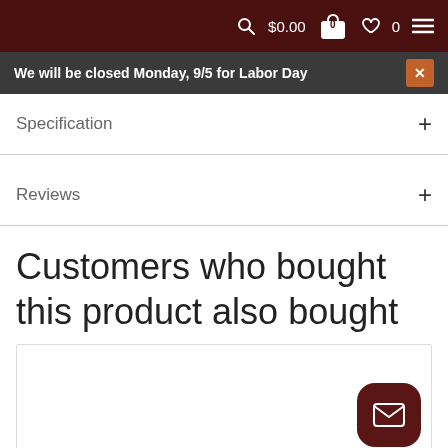$0.00  0  0
We will be closed Monday, 9/5 for Labor Day
Specification
Reviews
Customers who bought this product also bought
[Figure (other): Product card placeholder with email contact button]